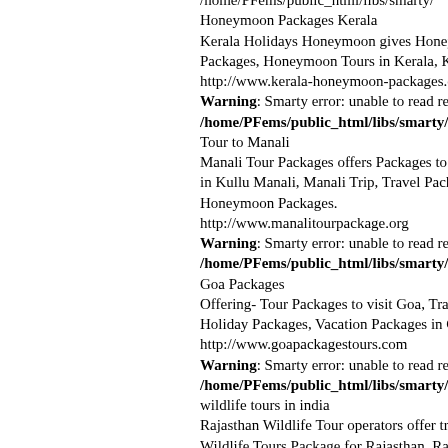/home/PFems/public_html/libs/smarty/
Honeymoon Packages Kerala
Kerala Holidays Honeymoon gives Honeymoon Packages, Honeymoon Tours in Kerala, K... http://www.kerala-honeymoon-packages.c...
Warning: Smarty error: unable to read re...
/home/PFems/public_html/libs/smarty/
Tour to Manali
Manali Tour Packages offers Packages to... in Kullu Manali, Manali Trip, Travel Pack... Honeymoon Packages. http://www.manalitourpackage.org
Warning: Smarty error: unable to read re...
/home/PFems/public_html/libs/smarty/
Goa Packages
Offering- Tour Packages to visit Goa, Tra... Holiday Packages, Vacation Packages in G... http://www.goapackagestours.com
Warning: Smarty error: unable to read re...
/home/PFems/public_html/libs/smarty/
wildlife tours in india
Rajasthan Wildlife Tour operators offer tr... Wildlife Tours Package for Rajasthan, Ra... and Rajasthan Wildlife Holiday Tours. http://www.indianwildlifetourism.com
Warning: Smarty error: unable to read re...